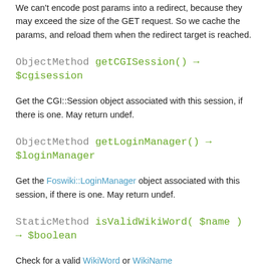We can't encode post params into a redirect, because they may exceed the size of the GET request. So we cache the params, and reload them when the redirect target is reached.
ObjectMethod getCGISession() → $cgisession
Get the CGI::Session object associated with this session, if there is one. May return undef.
ObjectMethod getLoginManager() → $loginManager
Get the Foswiki::LoginManager object associated with this session, if there is one. May return undef.
StaticMethod isValidWikiWord( $name ) → $boolean
Check for a valid WikiWord or WikiName
StaticMethod isValidTopicName( $name [,